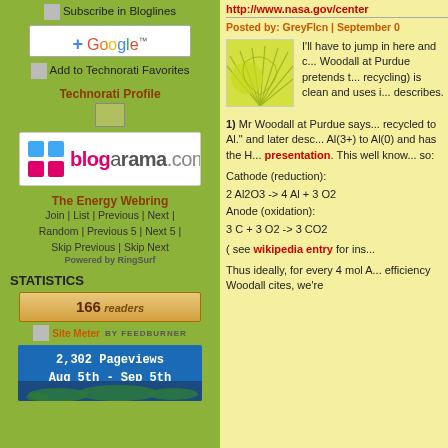Subscribe in Bloglines
[Figure (logo): Google +Google button]
Add to Technorati Favorites
Technorati Profile
[Figure (logo): blogarama.com logo button]
The Energy Webring
Join | List | Previous | Next | Random | Previous 5 | Next 5 | Skip Previous | Skip Next
Powered by RingSurf
STATISTICS
[Figure (other): 166 readers BY FEEDBURNER counter badge]
Site Meter BY FEEDBURNER
[Figure (other): 2,302 Pageviews Aug 5th - Sep 5th stats box with world map]
http://www.nasa.gov/center
Posted by: GreyFlcn | September 0
I'll have to jump in here and c... Woodall at Purdue pretends t... recycling) is clean and uses i... describes.
1) Mr Woodall at Purdue says... recycled to Al." and later desc... Al(3+) to Al(0) and has the H... presentation. This well know... so:
Cathode (reduction):
Anode (oxidation):
( see wikipedia entry for ins...
Thus ideally, for every 4 mol A... efficiency Woodall cites, we're